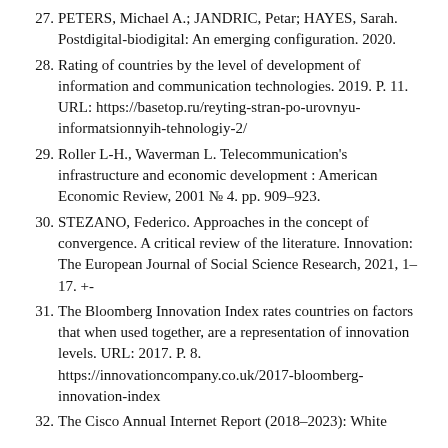27. PETERS, Michael A.; JANDRIC, Petar; HAYES, Sarah. Postdigital-biodigital: An emerging configuration. 2020.
28. Rating of countries by the level of development of information and communication technologies. 2019. P. 11. URL: https://basetop.ru/reyting-stran-po-urovnyu-informatsionnyih-tehnologiy-2/
29. Roller L-H., Waverman L. Telecommunication's infrastructure and economic development : American Economic Review, 2001 № 4. pp. 909–923.
30. STEZANO, Federico. Approaches in the concept of convergence. A critical review of the literature. Innovation: The European Journal of Social Science Research, 2021, 1–17. +-
31. The Bloomberg Innovation Index rates countries on factors that when used together, are a representation of innovation levels. URL: 2017. P. 8. https://innovationcompany.co.uk/2017-bloomberg-innovation-index
32. The Cisco Annual Internet Report (2018–2023): White